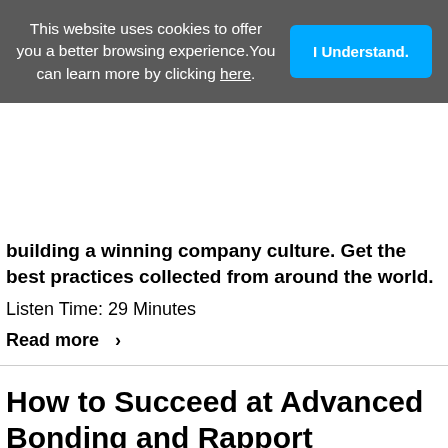[Figure (screenshot): Cookie consent banner overlay with dark grey background. Text reads: 'This website uses cookies to offer you a better browsing experience. You can learn more by clicking here.' with an 'I Understand.' button in cyan/blue on the right.]
building a winning company culture. Get the best practices collected from around the world.
Listen Time: 29 Minutes
Read more >
How to Succeed at Advanced Bonding and Rapport [...]